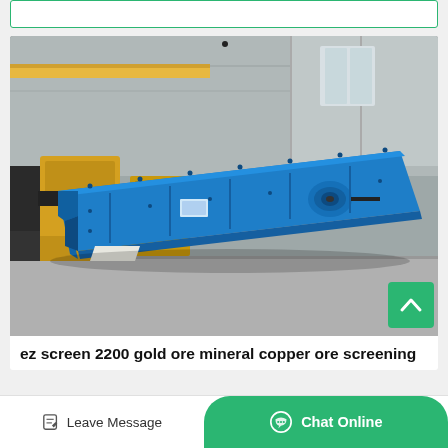[Figure (photo): A large blue vibrating screen machine (ez screen 2200) photographed inside an industrial warehouse/factory floor. The machine is rectangular, painted bright blue with bolted panels and a visible drive hub on the side. Background shows other yellow mining equipment and a grey industrial building interior.]
ez screen 2200 gold ore mineral copper ore screening
Leave Message
Chat Online